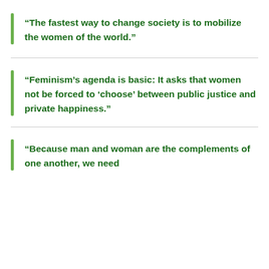“The fastest way to change society is to mobilize the women of the world.”
“Feminism’s agenda is basic: It asks that women not be forced to ‘choose’ between public justice and private happiness.”
“Because man and woman are the complements of one another, we need